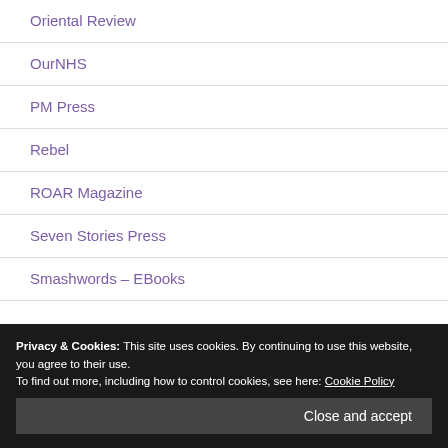Oriental Review
OurNHS
PM Press
Rebel
ROAR Magazine
Seven Stories Press
Smashwords – EBooks
Privacy & Cookies: This site uses cookies. By continuing to use this website, you agree to their use.
To find out more, including how to control cookies, see here: Cookie Policy
Stephen Gowans Blog